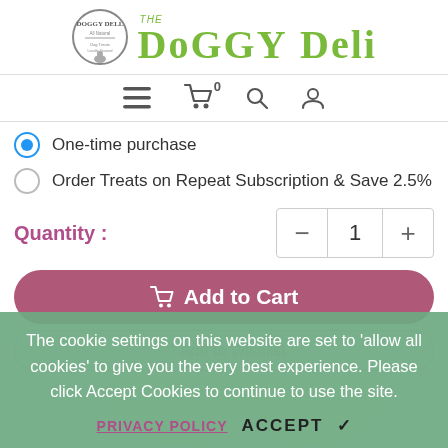[Figure (logo): The Doggy Deli logo with circular badge and green text reading THE DOGGY DELI]
[Figure (screenshot): Navigation bar with hamburger menu, shopping cart with 0 badge, search icon, and user profile icon]
One-time purchase
Order Treats on Repeat Subscription & Save 2.5%
Quantity :
Add to Cart
The cookie settings on this website are set to 'allow all cookies' to give you the very best experience. Please click Accept Cookies to continue to use the site.
PRIVACY POLICY    ACCEPT ✓